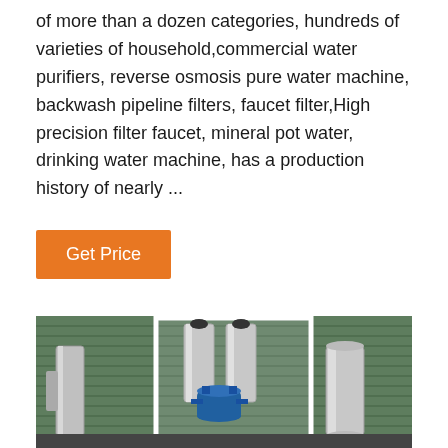of more than a dozen categories, hundreds of varieties of household,commercial water purifiers, reverse osmosis pure water machine, backwash pipeline filters, faucet filter,High precision filter faucet, mineral pot water, drinking water machine, has a production history of nearly ...
Get Price
[Figure (photo): Industrial water purification equipment in a factory setting. Shows a white metal frame unit containing two tall stainless steel cylindrical filter columns with black fittings on top, a blue cylindrical tank at the bottom center, blue piping, and additional stainless steel cylindrical vessels on the right side. The background shows a green corrugated metal wall.]